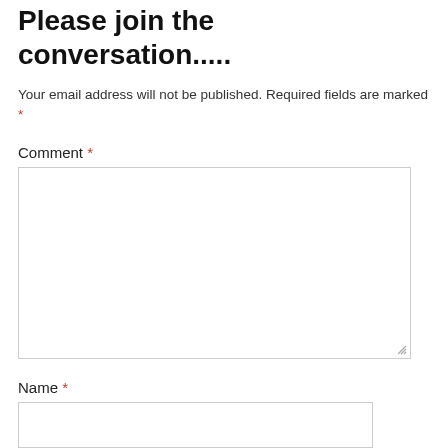Please join the conversation.....
Your email address will not be published. Required fields are marked *
Comment *
Name *